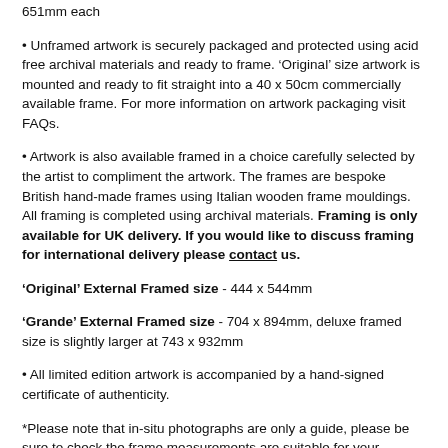651mm each
Unframed artwork is securely packaged and protected using acid free archival materials and ready to frame. 'Original' size artwork is mounted and ready to fit straight into a 40 x 50cm commercially available frame. For more information on artwork packaging visit FAQs.
Artwork is also available framed in a choice carefully selected by the artist to compliment the artwork. The frames are bespoke British hand-made frames using Italian wooden frame mouldings. All framing is completed using archival materials. Framing is only available for UK delivery. If you would like to discuss framing for international delivery please contact us.
'Original' External Framed size - 444 x 544mm
'Grande' External Framed size - 704 x 894mm, deluxe framed size is slightly larger at 743 x 932mm
All limited edition artwork is accompanied by a hand-signed certificate of authenticity.
*Please note that in-situ photographs are only a guide, please be sure to check the frame measurements are suitable for your chosen